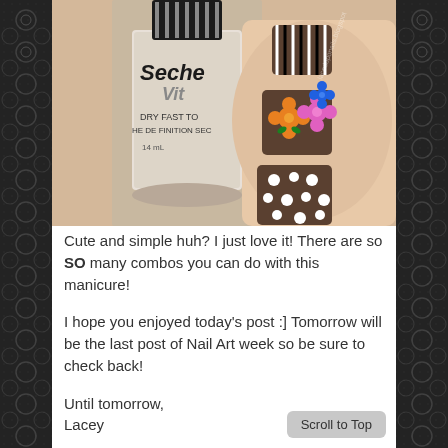[Figure (photo): Close-up photo of decorated nails next to a Seche Vite Dry Fast Top Coat nail polish bottle. Nails are painted dark brown/chocolate with flower designs (pink and orange flowers) and white polka dots. One nail has black and white stripes.]
Cute and simple huh? I just love it! There are so SO many combos you can do with this manicure!
I hope you enjoyed today's post :] Tomorrow will be the last post of Nail Art week so be sure to check back!
Until tomorrow,
Lacey
Scroll to Top